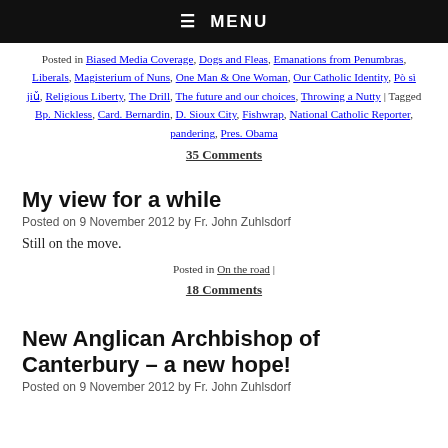☰  MENU
Posted in Biased Media Coverage, Dogs and Fleas, Emanations from Penumbras, Liberals, Magisterium of Nuns, One Man & One Woman, Our Catholic Identity, Pò sì jiǔ, Religious Liberty, The Drill, The future and our choices, Throwing a Nutty | Tagged Bp. Nickless, Card. Bernardin, D. Sioux City, Fishwrap, National Catholic Reporter, pandering, Pres. Obama
35 Comments
My view for a while
Posted on 9 November 2012 by Fr. John Zuhlsdorf
Still on the move.
Posted in On the road | 18 Comments
New Anglican Archbishop of Canterbury – a new hope!
Posted on 9 November 2012 by Fr. John Zuhlsdorf